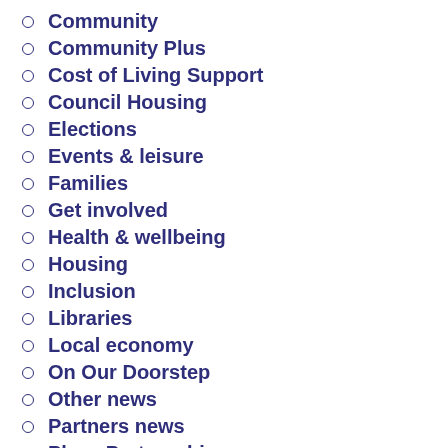Community
Community Plus
Cost of Living Support
Council Housing
Elections
Events & leisure
Families
Get involved
Health & wellbeing
Housing
Inclusion
Libraries
Local economy
On Our Doorstep
Other news
Partners news
Place Partnerships
regeneration
Roads and travel